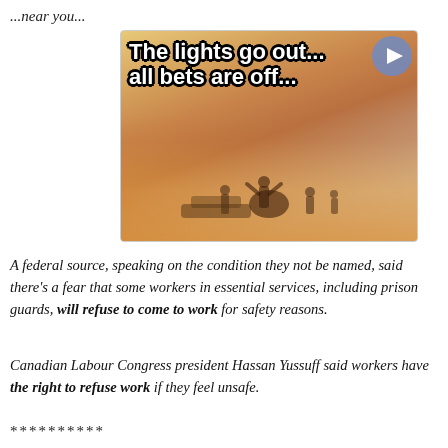...near you...
[Figure (photo): A video thumbnail showing silhouetted figures against a fire/riot scene at night, with bold white text with black outline reading 'The lights go out... all bets are off...' and a play button in the top right corner.]
A federal source, speaking on the condition they not be named, said there's a fear that some workers in essential services, including prison guards, will refuse to come to work for safety reasons.
Canadian Labour Congress president Hassan Yussuff said workers have the right to refuse work if they feel unsafe.
**********